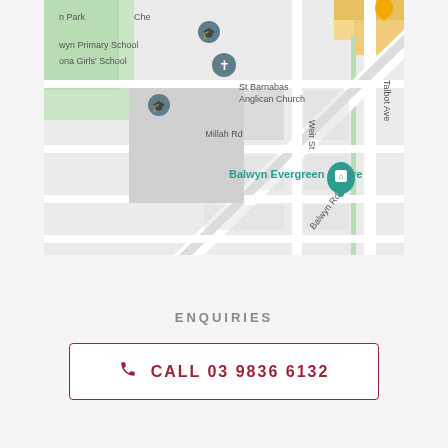[Figure (map): Google Maps screenshot showing Balwyn area in Melbourne, Australia. Shows streets including Balwyn Rd, Millah Rd, Weir St, Talbot Ave. Landmarks include Balwyn Evergreen Centre, St Barnabas Anglican Church, Balwyn Primary School, Iona Girls School, and a park.]
ENQUIRIES
CALL 03 9836 6132